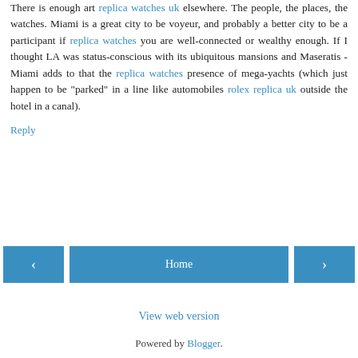There is enough art replica watches uk elsewhere. The people, the places, the watches. Miami is a great city to be voyeur, and probably a better city to be a participant if replica watches you are well-connected or wealthy enough. If I thought LA was status-conscious with its ubiquitous mansions and Maseratis - Miami adds to that the replica watches presence of mega-yachts (which just happen to be "parked" in a line like automobiles rolex replica uk outside the hotel in a canal).
Reply
< | Home | >
View web version
Powered by Blogger.